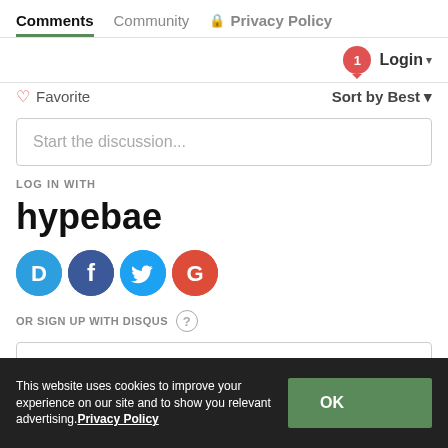Comments  Community  🔒 Privacy Policy
1  Login ▾
♡ Favorite   Sort by Best ▾
Start the discussion...
LOG IN WITH
hypebae
[Figure (logo): Social login icons: Disqus (D), Facebook (f), Twitter bird, Google (G)]
OR SIGN UP WITH DISQUS ?
Name
This website uses cookies to improve your experience on our site and to show you relevant advertising.Privacy Policy  OK